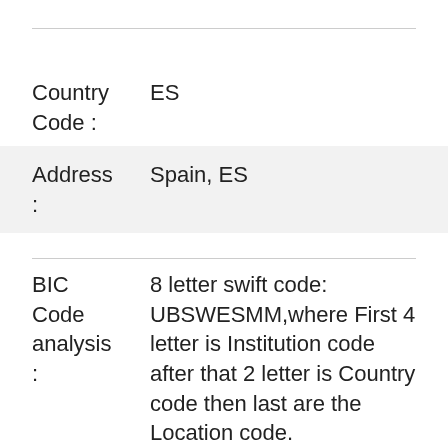| Country Code : | ES |
| Address : | Spain, ES |
| BIC Code analysis : | 8 letter swift code: UBSWESMM,where First 4 letter is Institution code after that 2 letter is Country code then last are the Location code. |